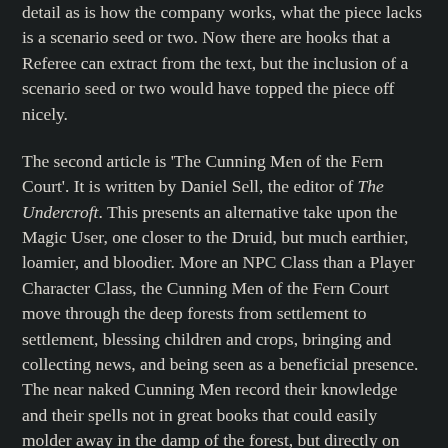detail as is how the company works, what the piece lacks is a scenario seed or two. Now there are hooks that a Referee can extract from the text, but the inclusion of a scenario seed or two would have topped the piece off nicely.
The second article is 'The Cunning Men of the Fern Court'. It is written by Daniel Sell, the editor of The Undercroft. This presents an alternative take upon the Magic User, one closer to the Druid, but much earthier, loamier, and bloodier. More an NPC Class than a Player Character Class, the Cunning Men of the Fern Court move through the deep forests from settlement to settlement, blessing children and crops, bringing and collecting news, and being seen as a beneficial presence. The near naked Cunning Men record their knowledge and their spells not in great books that could easily molder away in the damp of the forest, but directly on their skins via scarification. These skins are collected and stored by the Fern Court upon a Canning Man's death lest his knowledge is lost, though knowledge of a spell can be lost if a Cunning Man is also severely wounded.
The bulk of 'The Cunning Men of the Fern Court' is devoted to the spells known by the Cunning Men. There are over twenty of these